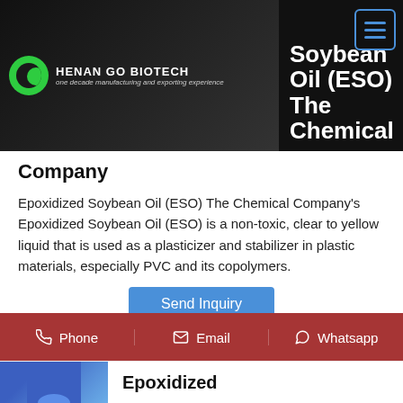[Figure (screenshot): Website banner with Henan Go Biotech logo on dark background, product image area, and navigation hamburger menu. Text partially visible: 'Soybean Oil (ESO)' and 'The Chemical']
Company
Epoxidized Soybean Oil (ESO) The Chemical Company's Epoxidized Soybean Oil (ESO) is a non-toxic, clear to yellow liquid that is used as a plasticizer and stabilizer in plastic materials, especially PVC and its copolymers.
[Figure (screenshot): Blue 'Send Inquiry' button]
Phone   Email   Whatsapp
Epoxidized